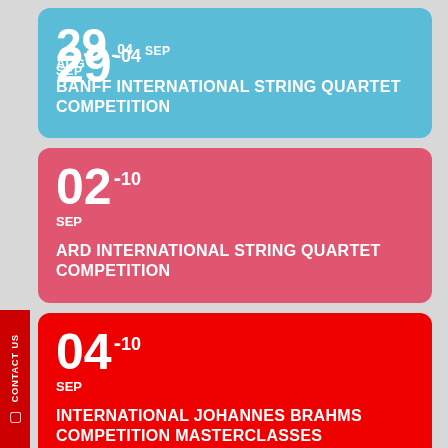29-04 AUG SEP
BANFF INTERNATIONAL STRING QUARTET COMPETITION
02-10 SEP
ARD INTERNATIONAL STRING QUARTET COMPETITION
04-10 SEP
INTERNATIONAL JOHANNES BRAHMS COMPETITION MASTERCLASSES
CONTACT US